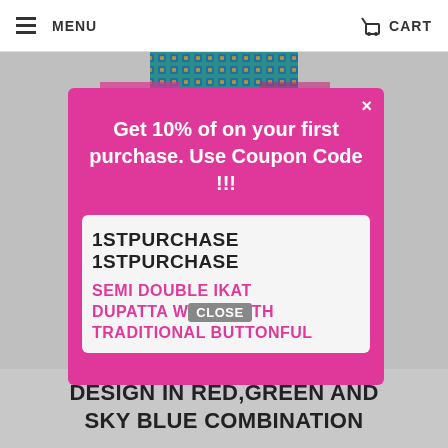MENU    CART
[Figure (photo): Background photo of a colorful ikat fabric/saree in teal, blue, red and pink colors]
Get 10% of on your first purchase. Use Coupon Code !!!
1STPURCHASE 1STPURCHASE
SEMI DOUBLE IKAT DUPATTA WITH TRADITIONAL BUTTONFUL
CLOSE
DESIGN IN RED,GREEN AND SKY BLUE COMBINATION